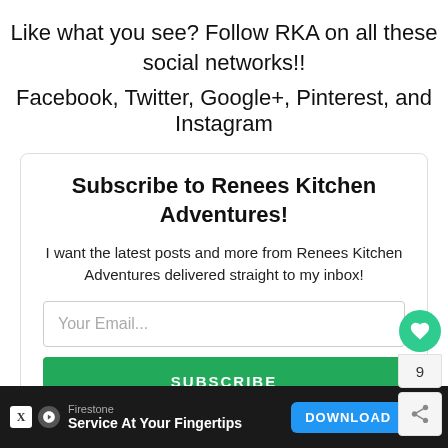Like what you see?  Follow RKA on all these social networks!! Facebook, Twitter, Google+, Pinterest, and Instagram
Subscribe to Renees Kitchen Adventures!
I want the latest posts and more from Renees Kitchen Adventures delivered straight to my inbox!
[Figure (screenshot): Email subscription form with 'Your Email...' input field and green 'SUBSCRIBE' button]
[Figure (screenshot): Advertisement bar at bottom: Firestone 'Service At Your Fingertips' with DOWNLOAD button]